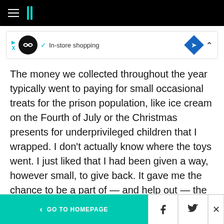HuffPost navigation header with hamburger menu and logo
[Figure (screenshot): Advertisement banner showing a circular logo, checkmark with 'In-store shopping' text, a blue diamond navigation icon, and a collapse chevron]
The money we collected throughout the year typically went to paying for small occasional treats for the prison population, like ice cream on the Fourth of July or the Christmas presents for underprivileged children that I wrapped. I don't actually know where the toys went. I just liked that I had been given a way, however small, to give back. It gave me the chance to be a part of — and help out — the community, something I
< GO TO HOMEPAGE  [Facebook icon]  [Twitter icon]  X